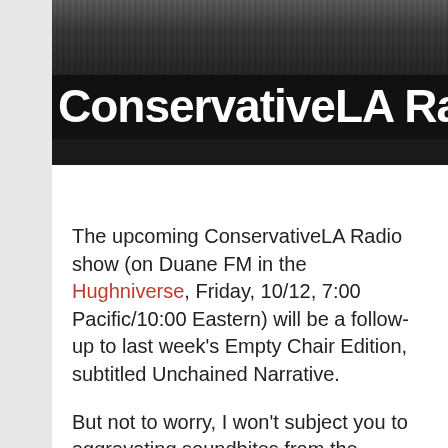[Figure (photo): Black and white banner photo of musicians performing on stage, with 'ConservativeLA Radio' text overlaid in large bold white letters on black background]
The upcoming ConservativeLA Radio show (on Duane FM in the Hughniverse, Friday, 10/12, 7:00 Pacific/10:00 Eastern) will be a follow-up to last week's Empty Chair Edition, subtitled Unchained Narrative.
But not to worry, I won't subject you to aggravating soundbites from the Anointed One. The show will be more of an impressionistic, Americana-laden response to The Empty Chair.